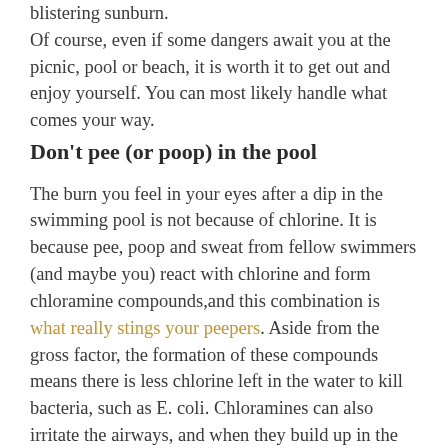blistering sunburn. Of course, even if some dangers await you at the picnic, pool or beach, it is worth it to get out and enjoy yourself. You can most likely handle what comes your way.
Don't pee (or poop) in the pool
The burn you feel in your eyes after a dip in the swimming pool is not because of chlorine. It is because pee, poop and sweat from fellow swimmers (and maybe you) react with chlorine and form chloramine compounds,and this combination is what really stings your peepers. Aside from the gross factor, the formation of these compounds means there is less chlorine left in the water to kill bacteria, such as E. coli. Chloramines can also irritate the airways, and when they build up in the air, such as at indoor pools, they can trigger asthma attacks.